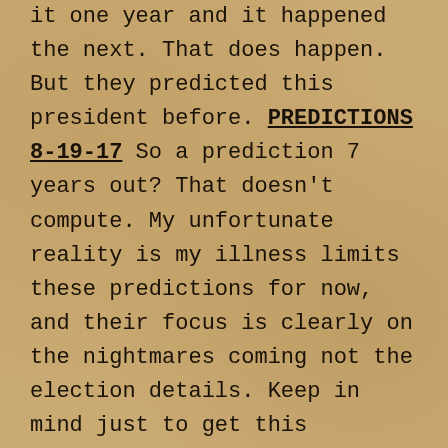it one year and it happened the next. That does happen. But they predicted this president before. PREDICTIONS 8-19-17 So a prediction 7 years out? That doesn't compute. My unfortunate reality is my illness limits these predictions for now, and their focus is clearly on the nightmares coming not the election details. Keep in mind just to get this information requires hours of meditation which is difficult with pain. But I write what